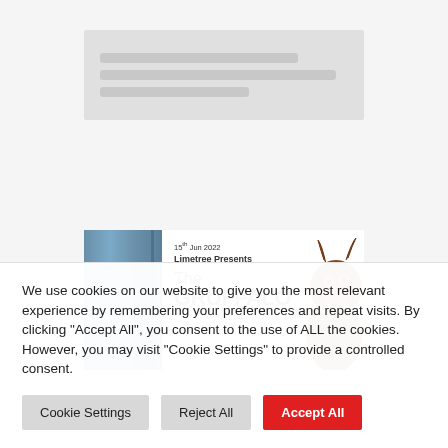[Figure (screenshot): Blurred/greyed out website content area at the top of the page, with a rectangular blurred block showing indistinct lines of text on a light grey background.]
[Figure (photo): Event ticket or flyer for 'The Gruffalo' by Limetree Presents, dated 15th Jun 2022. Shows a blue curtain on the left and the Gruffalo monster character on the right. Text reads: 15th Jun 2022, Limetree Presents, The GRUFFALO, Performed and sung by.]
We use cookies on our website to give you the most relevant experience by remembering your preferences and repeat visits. By clicking “Accept All”, you consent to the use of ALL the cookies. However, you may visit "Cookie Settings" to provide a controlled consent.
Cookie Settings
Reject All
Accept All